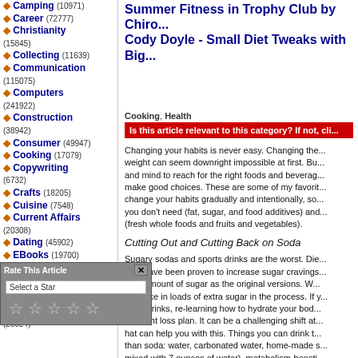Camping (10971)
Career (72777)
Christianity (15845)
Collecting (11639)
Communication (115075)
Computers (241922)
Construction (38942)
Consumer (49947)
Cooking (17079)
Copywriting (6732)
Crafts (18205)
Cuisine (7548)
Current Affairs (20308)
Dating (45902)
EBooks (19700)
Email (6439)
Entertainment (159838)
Environment (28924)
Summer Fitness in Trophy Club by Chiro... Cody Doyle - Small Diet Tweaks with Big...
Cooking, Health
Is this article relevant to this category? If not, cli...
Changing your habits is never easy. Changing the... weight can seem downright impossible at first. Bu... and mind to reach for the right foods and beverag... make good choices. These are some of my favorit... change your habits gradually and intentionally, so... you don't need (fat, sugar, and food additives) and... (fresh whole foods and fruits and vegetables).
Cutting Out and Cutting Back on Soda
Sugary sodas and sports drinks are the worst. Die... they have been proven to increase sugar cravings... ame amount of sugar as the original versions. W... and take in loads of extra sugar in the process. If y... ports drinks, re-learning how to hydrate your bod... a weight loss plan. It can be a challenging shift at... hat can help you with this. Things you can drink t... than soda: water, carbonated water, home-made s... mixed with 7 ounces of water), metabolism-boosti... home-made iced tea.
Rate This Article  X
Select a Star
☆ ☆ ☆ ☆ ☆